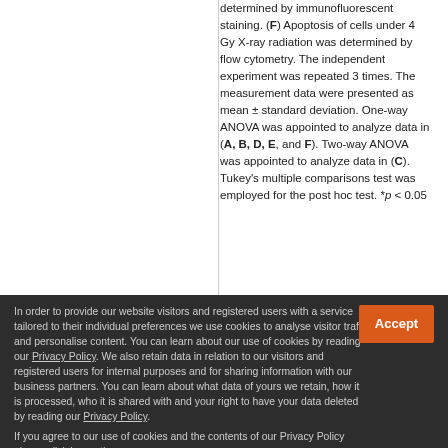determined by immunofluorescent staining. (F) Apoptosis of cells under 4 Gy X-ray radiation was determined by flow cytometry. The independent experiment was repeated 3 times. The measurement data were presented as mean ± standard deviation. One-way ANOVA was appointed to analyze data in (A, B, D, E, and F). Two-way ANOVA was appointed to analyze data in (C). Tukey's multiple comparisons test was employed for the post hoc test. *p < 0.05
In order to provide our website visitors and registered users with a service tailored to their individual preferences we use cookies to analyse visitor traffic and personalise content. You can learn about our use of cookies by reading our Privacy Policy. We also retain data in relation to our visitors and registered users for internal purposes and for sharing information with our business partners. You can learn about what data of yours we retain, how it is processed, who it is shared with and your right to have your data deleted by reading our Privacy Policy. If you agree to our use of cookies and the contents of our Privacy Policy please click 'accept'.